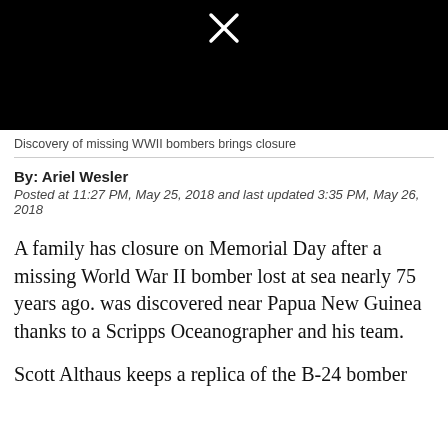[Figure (screenshot): Black video player thumbnail with white X icon in the center top area]
Discovery of missing WWII bombers brings closure
By: Ariel Wesler
Posted at 11:27 PM, May 25, 2018 and last updated 3:35 PM, May 26, 2018
A family has closure on Memorial Day after a missing World War II bomber lost at sea nearly 75 years ago. was discovered near Papua New Guinea thanks to a Scripps Oceanographer and his team.
Scott Althaus keeps a replica of the B-24 bomber